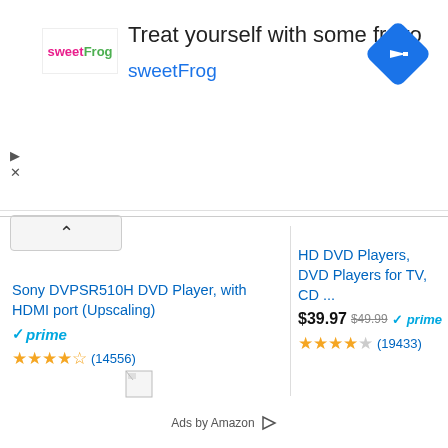[Figure (screenshot): SweetFrog advertisement banner with logo, tagline 'Treat yourself with some froyo', blue link text 'sweetFrog', and a blue diamond navigation arrow icon on the right]
Sony DVPSR510H DVD Player, with HDMI port (Upscaling)
prime (4.5 stars, 14556 reviews)
HD DVD Players, DVD Players for TV, CD ...
$39.97  $49.99  prime (4 stars, 19433 reviews)
Ads by Amazon